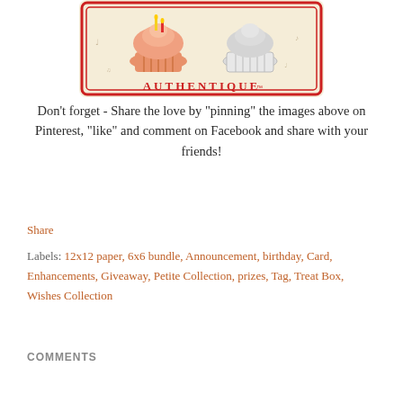[Figure (illustration): Authentique brand logo/image showing cupcakes with red border and 'AUTHENTIQUE' text in red letters on a cream/tan background]
Don't forget - Share the love by "pinning" the images above on Pinterest, "like" and comment on Facebook and share with your friends!
Share
Labels: 12x12 paper, 6x6 bundle, Announcement, birthday, Card, Enhancements, Giveaway, Petite Collection, prizes, Tag, Treat Box, Wishes Collection
COMMENTS